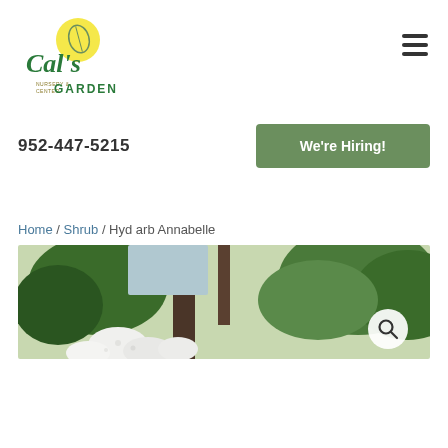[Figure (logo): Cal's Garden Center logo with yellow circle and green cursive text]
952-447-5215
We're Hiring!
Home / Shrub / Hyd arb Annabelle
[Figure (photo): Garden/shrub photo showing trees and white Annabelle hydrangea blooms with a search magnifier icon overlay]